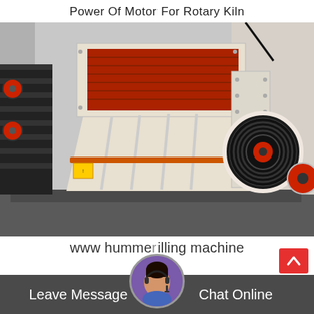Power Of Motor For Rotary Kiln
[Figure (photo): Industrial hammer mill / impact crusher machine, cream/white colored body with red-interior feed opening at top, large black pulley wheel on right side, red flywheel visible at far right, black staircase structure on left, photographed outdoors near a building.]
www hummerilling machine
Leave Message   Chat Online